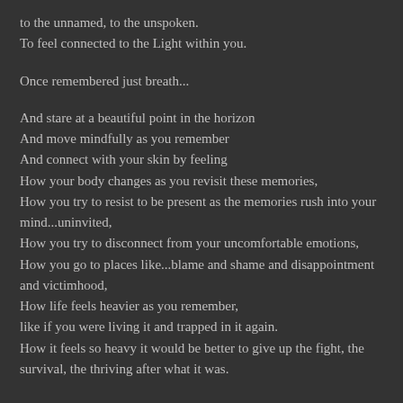to the unnamed, to the unspoken.
To feel connected to the Light within you.
Once remembered just breath...
And stare at a beautiful point in the horizon
And move mindfully as you remember
And connect with your skin by feeling
How your body changes as you revisit these memories,
How you try to resist to be present as the memories rush into your mind...uninvited,
How you try to disconnect from your uncomfortable emotions,
How you go to places like...blame and shame and disappointment and victimhood,
How life feels heavier as you remember,
like if you were living it and trapped in it again.
How it feels so heavy it would be better to give up the fight, the survival, the thriving after what it was.